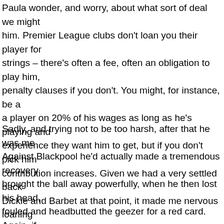Paula wonder, and worry, about what sort of deal we might get with him. Premier League clubs don't loan you their player for free with no strings – there's often a fee, often an obligation to play him, sometimes penalty clauses if you don't. You might, for instance, be asked to take a player on 20% of his wages as long as he's playing and getting the experience they want him to get, but if you don't pick him your wage contribution increases. Given we had a very settled back four with Henry, Dickie and Barbet at that point, it made me nervous loaning someone we owned (admittedly an injury prone one) to bring in another player where the pressure might be to disrupt the team and get him playing. Off the bench he came against Reading and immediately belted one in, which the crowd enjoyed very much indeed so not to worry.
Sadly, and trying not to be too harsh, after that he was mediocre. Against Blackpool he'd actually made a tremendous recovery tackle and brought the ball away powerfully, when he then lost his head, got fouled and headbutted the geezer for a red card. Again, if you're going to headbutt the opposition, which you really shouldn't, I would advise not Tina Turner's 1988 look for you – huge great mane swaying about as he jolted his head to do it, even Gavin Ward notices that kind of thing when he's refereeing. With the possible mitigation that Yoann was carrying an injury by this stage, I thought it utterly lousy th